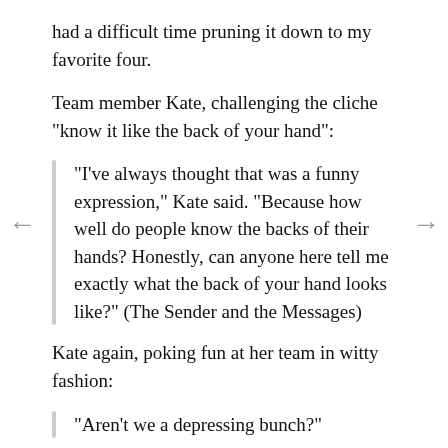had a difficult time pruning it down to my favorite four.
Team member Kate, challenging the cliche "know it like the back of your hand":
"I've always thought that was a funny expression," Kate said. "Because how well do people know the backs of their hands? Honestly, can anyone here tell me exactly what the back of your hand looks like?" (The Sender and the Messages)
Kate again, poking fun at her team in witty fashion:
"Aren't we a depressing bunch?"